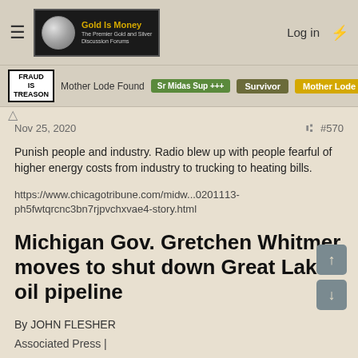Gold Is Money — The Premier Gold and Silver Discussion Forums | Log in
FRAUD IS TREASON | Mother Lode Found | Sr Midas Sup +++ | Survivor | Mother Lode
Nov 25, 2020  #570
Punish people and industry. Radio blew up with people fearful of higher energy costs from industry to trucking to heating bills.
https://www.chicagotribune.com/midw...0201113-ph5fwtqrcnc3bn7rjpvchxvae4-story.html
Michigan Gov. Gretchen Whitmer moves to shut down Great Lakes oil pipeline
By JOHN FLESHER
Associated Press |